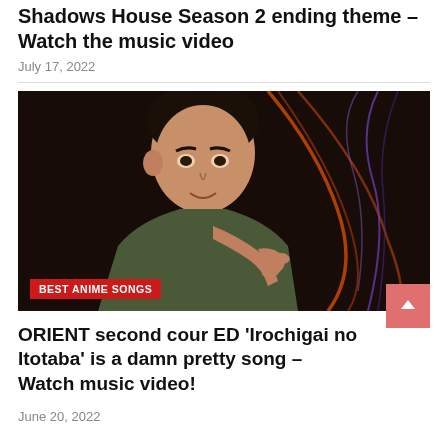Shadows House Season 2 ending theme – Watch the music video
July 17, 2022
[Figure (photo): Person singing or rapping with hand gesture, dramatic lighting with purple and orange streaks on dark background. Red badge overlay reads BEST ANIME SONGS.]
ORIENT second cour ED 'Irochigai no Itotaba' is a damn pretty song – Watch music video!
June 20, 2022